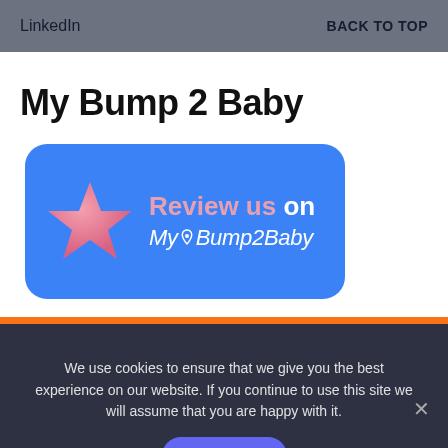LinkedIn   BACK TO TOP
My Bump 2 Baby
[Figure (logo): Blue rounded rectangle badge with a pink star on the left and white text reading 'Review us on MyBump2Baby' with illustrated baby/pregnancy icons in the logo wordmark]
We use cookies to ensure that we give you the best experience on our website. If you continue to use this site we will assume that you are happy with it.